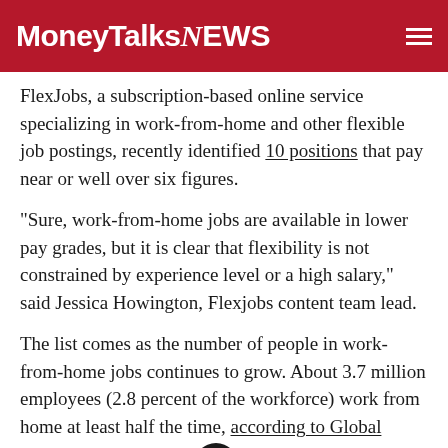MoneyTalksNews
FlexJobs, a subscription-based online service specializing in work-from-home and other flexible job postings, recently identified 10 positions that pay near or well over six figures.
“Sure, work-from-home jobs are available in lower pay grades, but it is clear that flexibility is not constrained by experience level or a high salary,” said Jessica Howington, Flexjobs content team lead.
The list comes as the number of people in work-from-home jobs continues to grow. About 3.7 million employees (2.8 percent of the workforce) work from home at least half the time, according to Global Workplace Analytics.